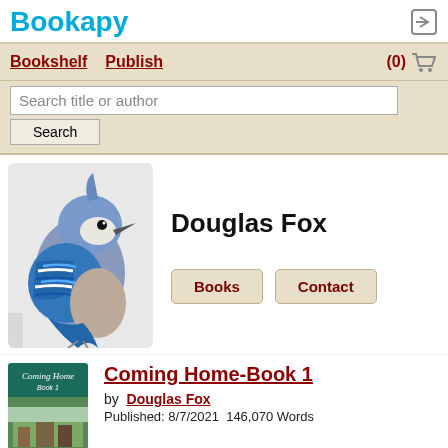Bookapy
Bookshelf   Publish   (0) [cart]
Search title or author [Search button]
[Figure (photo): Close-up photo of a blue jay bird perched, showing blue and white feathers]
Douglas Fox
Books   Contact
[Figure (photo): Book cover for 'Coming Home Book 1' with teal/green background and small landscape image]
Coming Home-Book 1
by Douglas Fox
Published: 8/7/2021  146,070 Words